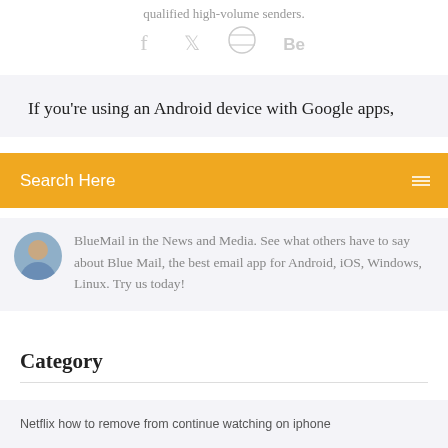qualified high-volume senders.
[Figure (illustration): Social media icons: Facebook (f), Twitter bird, Dribbble, Behance (Be)]
If you're using an Android device with Google apps,
Search Here
BlueMail in the News and Media. See what others have to say about Blue Mail, the best email app for Android, iOS, Windows, Linux. Try us today!
Category
Netflix how to remove from continue watching on iphone